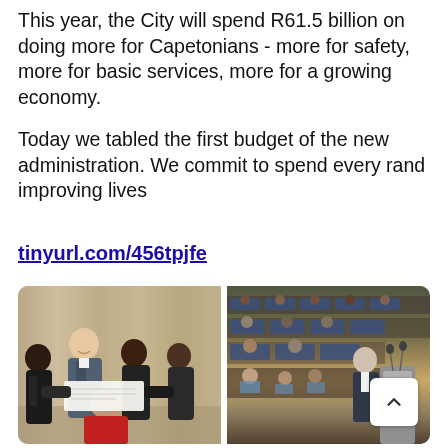This year, the City will spend R61.5 billion on doing more for Capetonians - more for safety, more for basic services, more for a growing economy.
Today we tabled the first budget of the new administration. We commit to spend every rand improving lives
tinyurl.com/456tpjfe
[Figure (photo): Left photo: Group of men in formal attire holding documents, appearing to present or sign papers. Right photo: Council chamber or assembly hall with seated attendees and a man standing at a podium.]